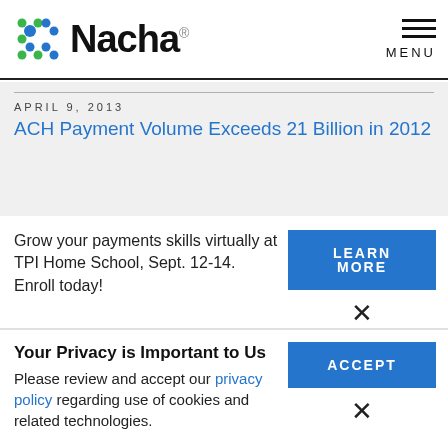Nacha
APRIL 9, 2013
ACH Payment Volume Exceeds 21 Billion in 2012
Grow your payments skills virtually at TPI Home School, Sept. 12-14. Enroll today!
LEARN MORE
Your Privacy is Important to Us
Please review and accept our privacy policy regarding use of cookies and related technologies.
ACCEPT